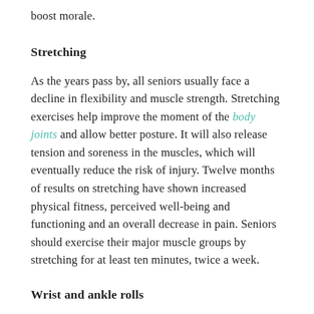boost morale.
Stretching
As the years pass by, all seniors usually face a decline in flexibility and muscle strength. Stretching exercises help improve the moment of the body joints and allow better posture. It will also release tension and soreness in the muscles, which will eventually reduce the risk of injury. Twelve months of results on stretching have shown increased physical fitness, perceived well-being and functioning and an overall decrease in pain. Seniors should exercise their major muscle groups by stretching for at least ten minutes, twice a week.
Wrist and ankle rolls